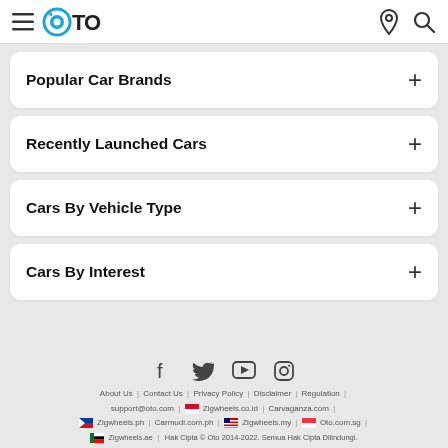OTO
Popular Car Brands
Recently Launched Cars
Cars By Vehicle Type
Cars By Interest
About Us | Contact Us | Privacy Policy | Disclaimer | Regulation | support@oto.com | Zigwheels.co.id | Carvaganza.com | Zigwheels.ph | Carmudi.com.ph | Zigwheels.my | Oto.com.sg | Zigwheels.ae | Hak Cipta © Oto 2014-2022. Semua Hak Cipta Dilindungi.